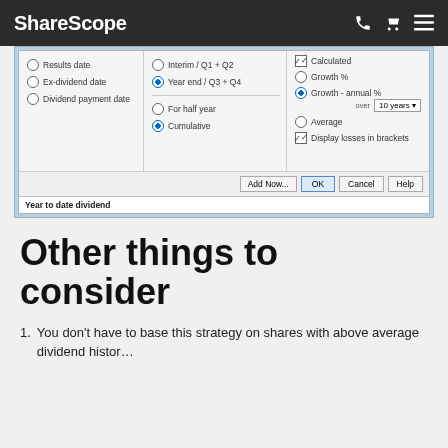ShareScope
[Figure (screenshot): ShareScope software dialog screenshot showing options: Results date, Ex-dividend date, Dividend payment date (radio buttons in col 1); Interim/Q1+Q2, Year end/Q3+Q4 (selected), For half year, Cumulative (selected) in col 2; Calculated (checked), Growth %, Growth - annual % (selected) over 10 years dropdown, Average, Display losses in brackets (checked) in col 3. Buttons: Add Now..., OK, Cancel, Help. Status bar: Year to date dividend]
Other things to consider
You don't have to base this strategy on shares with above average dividendhistories. Concentrate on those that...